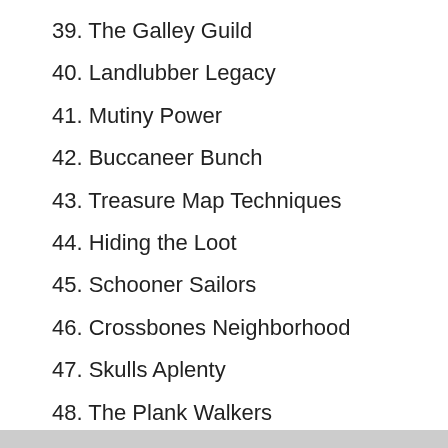39. The Galley Guild
40. Landlubber Legacy
41. Mutiny Power
42. Buccaneer Bunch
43. Treasure Map Techniques
44. Hiding the Loot
45. Schooner Sailors
46. Crossbones Neighborhood
47. Skulls Aplenty
48. The Plank Walkers
49. Eye Patch Patrol
50. Off the Hook
51. Misplaced at Sea